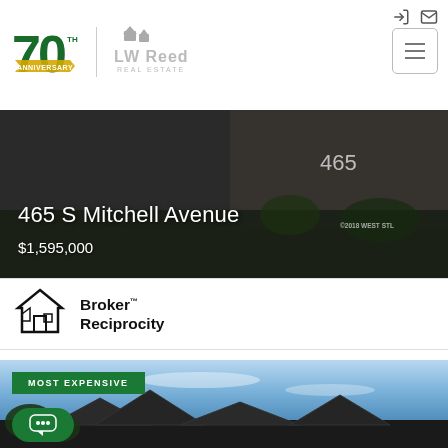[Figure (logo): LW Reedy Real Estate 70th Anniversary logo with green numerals and banner]
[Figure (photo): Property listing photo for 465 S Mitchell Avenue showing modern home exterior with address number 465 visible]
465 S Mitchell Avenue
$1,595,000
[Figure (logo): Broker Reciprocity logo with house icon]
Broker™ Reciprocity
[Figure (photo): Second property listing photo showing house rooftops against blue sky with MOST EXPENSIVE badge]